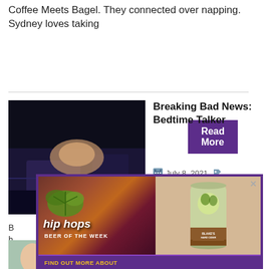Coffee Meets Bagel. They connected over napping. Sydney loves taking
[Figure (screenshot): Read More button with purple background]
[Figure (photo): Person lying in bed in a dark room - article thumbnail image]
Breaking Bad News: Bedtime Talker
July 8, 2021
B... h... h...
[Figure (infographic): Hip Hops Beer of the Week advertisement featuring Blake's Hard Cider Caramel Apple can. Text: FIND OUT MORE ABOUT THE BEER OF THE WEEK!]
[Figure (photo): Bottom partial image strip showing people]